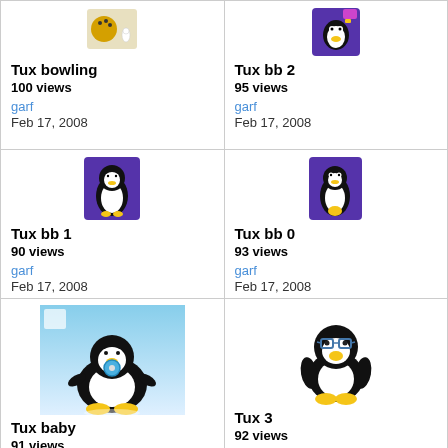[Figure (illustration): Tux bowling thumbnail image]
Tux bowling
100 views
garf
Feb 17, 2008
[Figure (illustration): Tux bb 2 thumbnail image]
Tux bb 2
95 views
garf
Feb 17, 2008
[Figure (illustration): Tux bb 1 thumbnail - purple penguin icon]
Tux bb 1
90 views
garf
Feb 17, 2008
[Figure (illustration): Tux bb 0 thumbnail - purple penguin icon]
Tux bb 0
93 views
garf
Feb 17, 2008
[Figure (illustration): Tux baby - penguin with pacifier on blue background]
Tux baby
91 views
garf
Feb 17, 2008
[Figure (illustration): Tux 3 - penguin with glasses]
Tux 3
92 views
garf
Feb 17, 2008